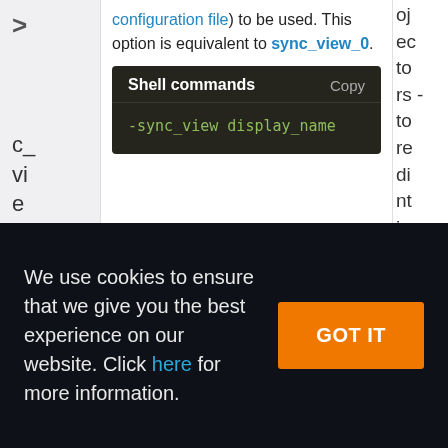configuration file) to be used. This option is equivalent to sync_view_0.
Shell commands
-sync_view display_name
We use cookies to ensure that we give you the best experience on our website. Click here for more information.
GOT IT